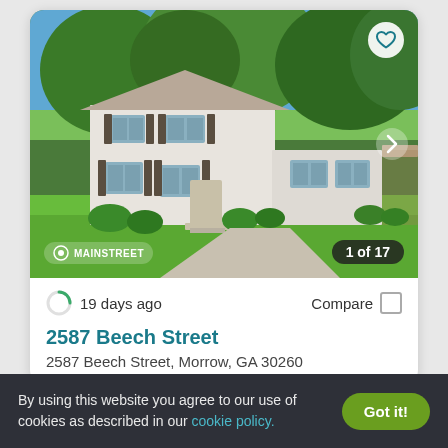[Figure (photo): Exterior photo of a two-story white house with green lawn and trees, showing 1 of 17 photos, with Mainstreet watermark]
19 days ago
Compare
2587 Beech Street
2587 Beech Street, Morrow, GA 30260
By using this website you agree to our use of cookies as described in our cookie policy.